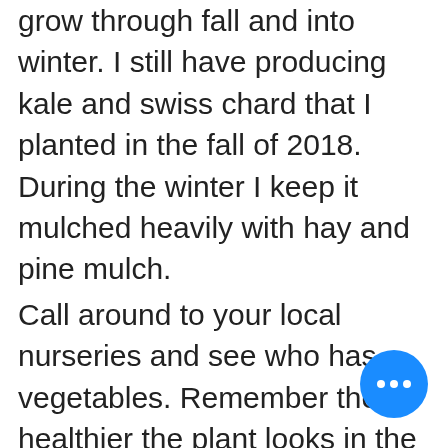grow through fall and into winter. I still have producing kale and swiss chard that I planted in the fall of 2018. During the winter I keep it mulched heavily with hay and pine mulch.
Call around to your local nurseries and see who has vegetables. Remember the healthier the plant looks in the store, the better it will grow. When you plant be sure to check the roots when you remove the plant from the pot. I always remove some of the soil at the bottom and spread the roots before setting in the ground and covering. To keep them alive through August until the weather cools they will frequent watering and about 3" of
[Figure (other): Blue circular floating action button with three white dots (ellipsis menu)]